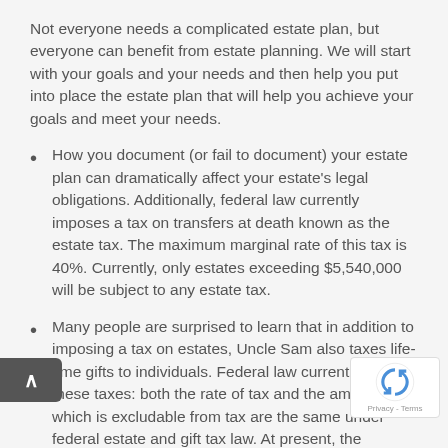Not everyone needs a complicated estate plan, but everyone can benefit from estate planning. We will start with your goals and your needs and then help you put into place the estate plan that will help you achieve your goals and meet your needs.
How you document (or fail to document) your estate plan can dramatically affect your estate's legal obligations. Additionally, federal law currently imposes a tax on transfers at death known as the estate tax. The maximum marginal rate of this tax is 40%. Currently, only estates exceeding $5,540,000 will be subject to any estate tax.
Many people are surprised to learn that in addition to imposing a tax on estates, Uncle Sam also taxes life-time gifts to individuals. Federal law currently unifies these taxes: both the rate of tax and the amount which is excludable from tax are the same under federal estate and gift tax law. At present, the maximum, marginal rate for both gift and